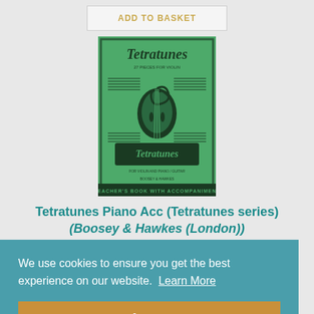ADD TO BASKET
[Figure (illustration): Book cover of Tetratunes showing a green background with a violin scroll illustration and the title Tetratunes, labeled as Teacher's Book with Accompaniment]
Tetratunes Piano Acc (Tetratunes series) (Boosey & Hawkes (London))
We use cookies to ensure you get the best experience on our website. Learn More
Accept
KATHY AND DAVID BLACKWELL